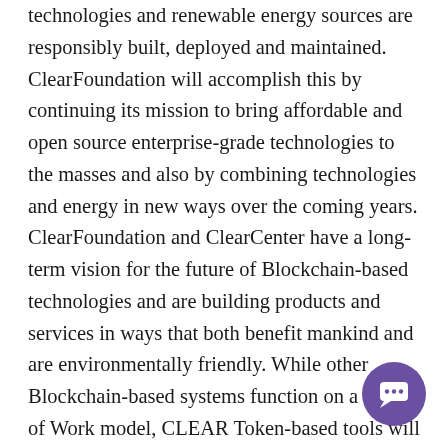technologies and renewable energy sources are responsibly built, deployed and maintained. ClearFoundation will accomplish this by continuing its mission to bring affordable and open source enterprise-grade technologies to the masses and also by combining technologies and energy in new ways over the coming years. ClearFoundation and ClearCenter have a long-term vision for the future of Blockchain-based technologies and are building products and services in ways that both benefit mankind and are environmentally friendly. While other Blockchain-based systems function on a Proof of Work model, CLEAR Token-based tools will feature a Proof of Space model. Proof of Work-based Blockchains are incredibly inefficient and require overutilization of the computer or server resources running each